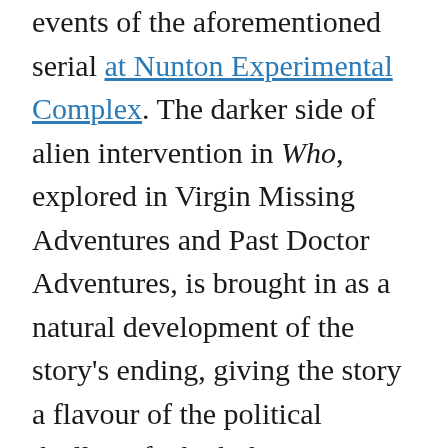events of the aforementioned serial at Nunton Experimental Complex. The darker side of alien intervention in Who, explored in Virgin Missing Adventures and Past Doctor Adventures, is brought in as a natural development of the story's ending, giving the story a flavour of the political thriller, of which the 70s produced many classics of the genre.
After Orcini fell somewhat flat, Eldrad Must Live! is a compelling one-shot story that works for audiences of any age, and is an added treat for Marvel Comics' fans. With